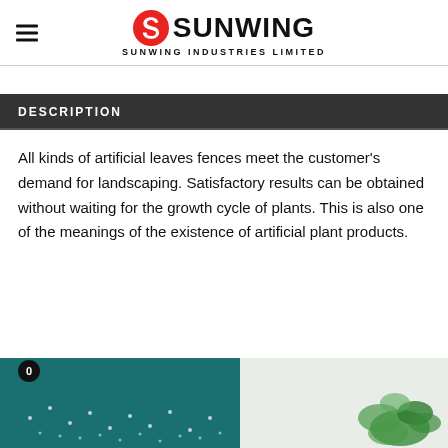SUNWING INDUSTRIES LIMITED
DESCRIPTION
All kinds of artificial leaves fences meet the customer's demand for landscaping. Satisfactory results can be obtained without waiting for the growth cycle of plants. This is also one of the meanings of the existence of artificial plant products.
[Figure (photo): Two product images at bottom: left shows teal/dark green background with decorative white dot pattern, right shows light background with green foliage. Cart icon with badge '0' overlaid on bottom left.]